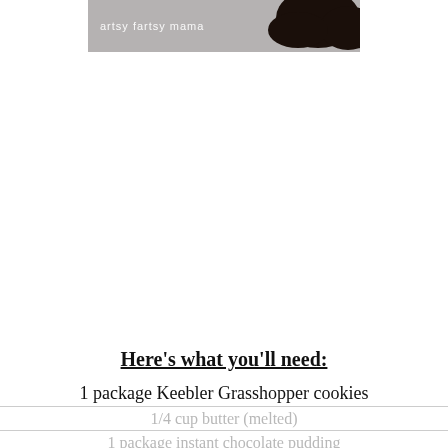[Figure (photo): Partial photo of dark chocolate cookies on a light gray background with 'artsy fartsy mama' watermark text in white]
Here's what you'll need:
1 package Keebler Grasshopper cookies
1/4 cup butter (melted)
1 package instant chocolate pudding